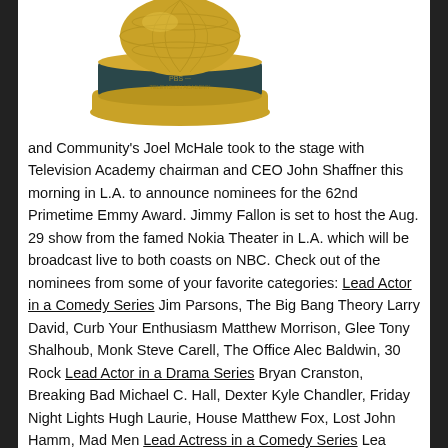[Figure (photo): Gold Emmy Award trophy viewed from above, circular gold base with globe/sphere on top, dark teal band around middle.]
and Community's Joel McHale took to the stage with Television Academy chairman and CEO John Shaffner this morning in L.A. to announce nominees for the 62nd Primetime Emmy Award. Jimmy Fallon is set to host the Aug. 29 show from the famed Nokia Theater in L.A. which will be broadcast live to both coasts on NBC. Check out of the nominees from some of your favorite categories: Lead Actor in a Comedy Series Jim Parsons, The Big Bang Theory Larry David, Curb Your Enthusiasm Matthew Morrison, Glee Tony Shalhoub, Monk Steve Carell, The Office Alec Baldwin, 30 Rock Lead Actor in a Drama Series Bryan Cranston, Breaking Bad Michael C. Hall, Dexter Kyle Chandler, Friday Night Lights Hugh Laurie, House Matthew Fox, Lost John Hamm, Mad Men Lead Actress in a Comedy Series Lea Michelle, Glee Julia Louis-Dreyfus, The New Adventures of Old Christine Edie Falco, Nurse Jackie Amy Poehler, Parks and Recreation Tiny Fey, 30 Rock Toni Collette,